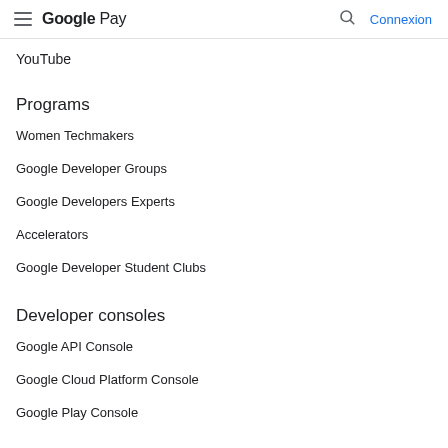Google Pay — Connexion
YouTube
Programs
Women Techmakers
Google Developer Groups
Google Developers Experts
Accelerators
Google Developer Student Clubs
Developer consoles
Google API Console
Google Cloud Platform Console
Google Play Console